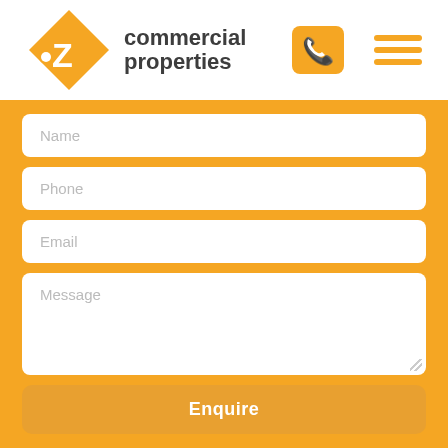[Figure (logo): OZ Commercial Properties logo with orange diamond/arrow shape and dark gray text]
[Figure (screenshot): Contact form on orange background with fields: Name, Phone, Email, Message, and an Enquire button]